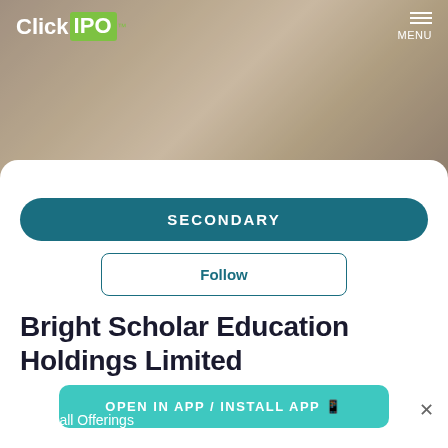[Figure (screenshot): ClickIPO website screenshot showing hero banner with blurred background photo and navigation header with logo and menu button]
ClickIPO™  MENU
< view all Offerings
SECONDARY
Follow
Bright Scholar Education Holdings Limited
OPEN IN APP / INSTALL APP
×